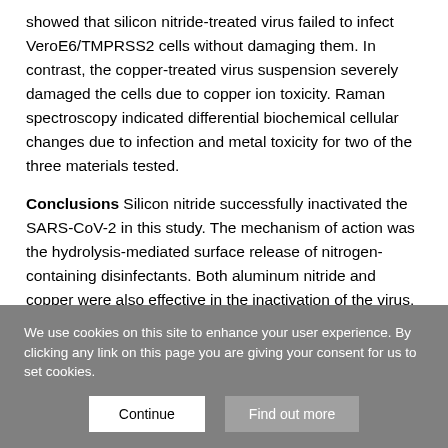showed that silicon nitride-treated virus failed to infect VeroE6/TMPRSS2 cells without damaging them. In contrast, the copper-treated virus suspension severely damaged the cells due to copper ion toxicity. Raman spectroscopy indicated differential biochemical cellular changes due to infection and metal toxicity for two of the three materials tested.
Conclusions Silicon nitride successfully inactivated the SARS-CoV-2 in this study. The mechanism of action was the hydrolysis-mediated surface release of nitrogen-containing disinfectants. Both aluminum nitride and copper were also effective in the inactivation of the virus. However, while the former compound affected the cells, the latter compound had a cytopathic effect.
We use cookies on this site to enhance your user experience. By clicking any link on this page you are giving your consent for us to set cookies.